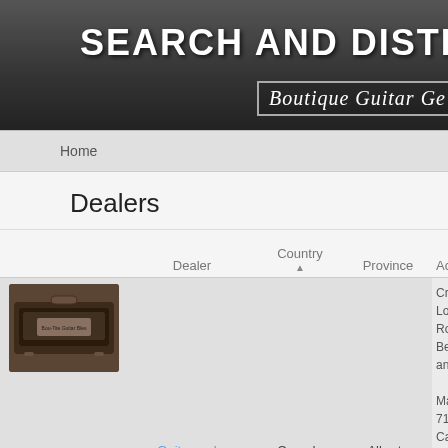SEARCH AND DISTRO
Boutique Guitar Ge
Home
Dealers
|  | Dealer | Country | Province | Ac |
| --- | --- | --- | --- | --- |
| [image] | Guitarworks | Canada | Alberta | Cr
Lo
Ro
Be
an

Ma
71
Ca
Be |